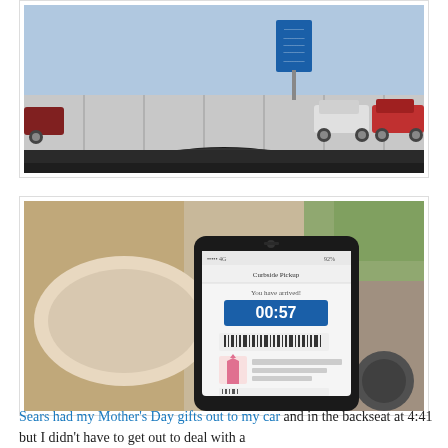[Figure (photo): View from inside a car showing a steering wheel in the foreground and a parking lot with a blue sign on a post and parked cars visible through the windshield.]
[Figure (photo): A hand holding a smartphone inside a car, the phone screen shows a curbside pickup timer reading 00:57 and a shopping order with a pink item image.]
Sears had my Mother's Day gifts out to my car and in the backseat at 4:41 but I didn't have to get out to deal with a